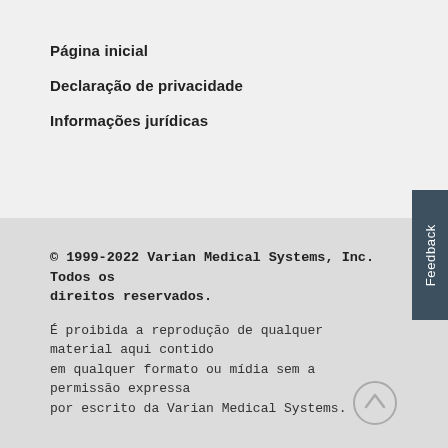Página inicial
Declaração de privacidade
Informações jurídicas
© 1999-2022 Varian Medical Systems, Inc.  Todos os direitos reservados.
É proibida a reprodução de qualquer material aqui contido em qualquer formato ou mídia sem a permissão expressa por escrito da Varian Medical Systems.